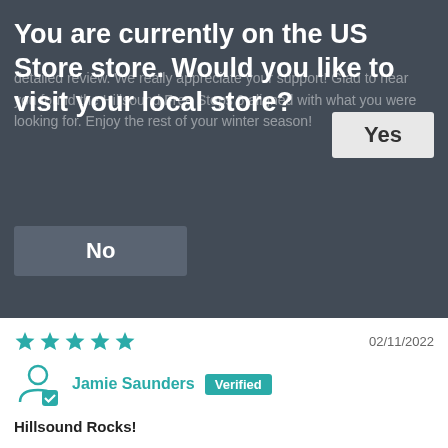You are currently on the US Store store. Would you like to visit your local store?
Yes
No
02/11/2022
Jamie Saunders  Verified
Hillsound Rocks!
I've been using the Hillsound Trail Crampons for a year now, but sometimes find them to be too much in terms of spike length and weight...great for ice, but thought I might try something a little lighter and less aggressive for lighter conditions. The Free Steps 6 turned out to be exactly what I was looking for...lighter and less cumbersome in terms of my stride and how high I have to lift my feet. I was concerned that the Free Steps didn't have the velcro cross-strap featured on the Trail Crampon, but have yet to encounter a problem with them slipping. My only small criticism is that the Free Steps 6 (XL) I purchased seemed to fit a touch bigger that the XL in the Trail Crampons...the rear set of